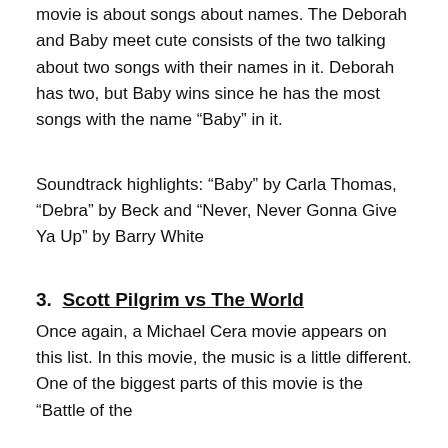movie is about songs about names. The Deborah and Baby meet cute consists of the two talking about two songs with their names in it. Deborah has two, but Baby wins since he has the most songs with the name “Baby” in it.
Soundtrack highlights: “Baby” by Carla Thomas, “Debra” by Beck and “Never, Never Gonna Give Ya Up” by Barry White
3.  Scott Pilgrim vs The World
Once again, a Michael Cera movie appears on this list. In this movie, the music is a little different. One of the biggest parts of this movie is the “Battle of the